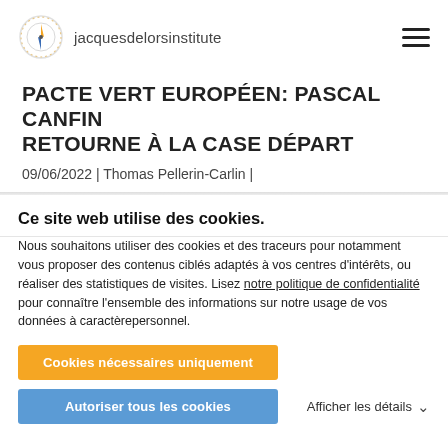jacquesdelorsinstitute
PACTE VERT EUROPÉEN: PASCAL CANFIN RETOURNE À LA CASE DÉPART
09/06/2022 | Thomas Pellerin-Carlin |
Ce site web utilise des cookies.
Nous souhaitons utiliser des cookies et des traceurs pour notamment vous proposer des contenus ciblés adaptés à vos centres d'intérêts, ou réaliser des statistiques de visites. Lisez notre politique de confidentialité pour connaître l'ensemble des informations sur notre usage de vos données à caractèrepersonnel.
Cookies nécessaires uniquement
Autoriser tous les cookies
Afficher les détails